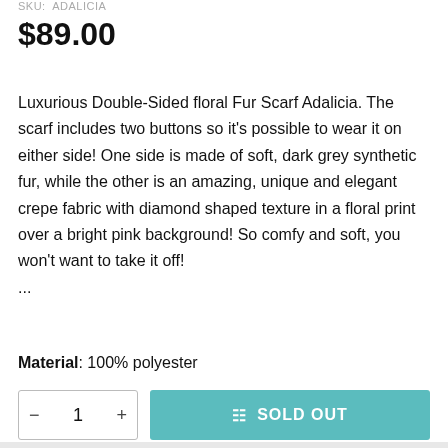SKU: ADALICIA
$89.00
Luxurious Double-Sided floral Fur Scarf Adalicia. The scarf includes two buttons so it's possible to wear it on either side! One side is made of soft, dark grey synthetic fur, while the other is an amazing, unique and elegant crepe fabric with diamond shaped texture in a floral print over a bright pink background! So comfy and soft, you won't want to take it off! ...
Material: 100% polyester